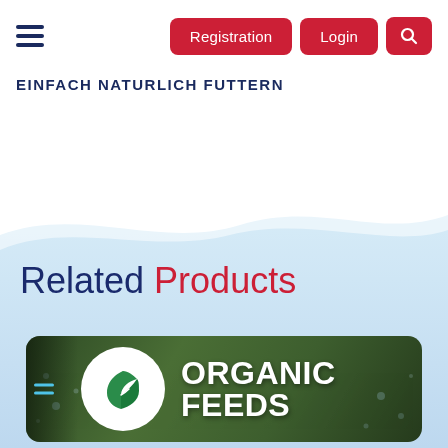EINFACH NATURLICH FUTTERN | Registration | Login | Search
EINFACH NATURLICH FUTTERN
Related Products
[Figure (photo): Product card with organic feeds branding: green leaf logo in white circle, bold white text reading ORGANIC FEEDS, on a dark green bokeh background with water droplets]